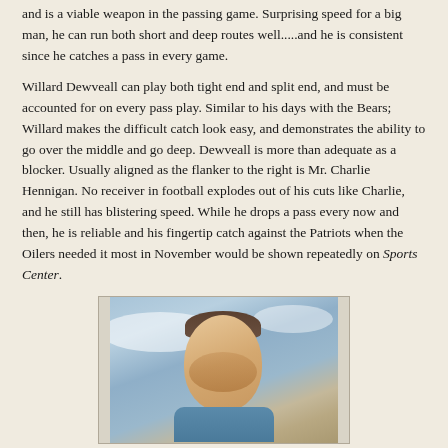and is a viable weapon in the passing game. Surprising speed for a big man, he can run both short and deep routes well.....and he is consistent since he catches a pass in every game.
Willard Dewveall can play both tight end and split end, and must be accounted for on every pass play. Similar to his days with the Bears; Willard makes the difficult catch look easy, and demonstrates the ability to go over the middle and go deep. Dewveall is more than adequate as a blocker. Usually aligned as the flanker to the right is Mr. Charlie Hennigan. No receiver in football explodes out of his cuts like Charlie, and he still has blistering speed. While he drops a pass every now and then, he is reliable and his fingertip catch against the Patriots when the Oilers needed it most in November would be shown repeatedly on Sports Center.
[Figure (photo): Portrait photograph of a football player (likely Charlie Hennigan) looking upward, wearing a light-colored jersey, photographed against a cloudy sky background.]